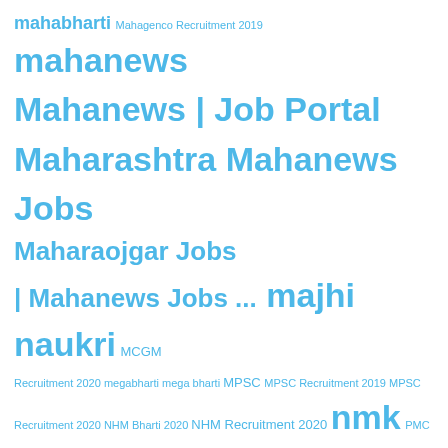mahabharti Mahagenco Recruitment 2019 mahanews Mahanews | Job Portal Maharashtra Mahanews Jobs Maharaojgar Jobs | Mahanews Jobs ... majhi naukri MCGM Recruitment 2020 megabharti mega bharti MPSC MPSC Recruitment 2019 MPSC Recruitment 2020 NHM Bharti 2020 NHM Recruitment 2020 nmk PMC Bharti 2020 PMC Recruitment 2020 Police Bharti 2019 railway recruitment 2019 apply online SBI Recruitment SSC Recruitment SSC Recruitment 2019 upcoming rbi recruitment 2020 UPSC Recruitment UPSC Recruitment 2020 Western Railway Recruitment 2020 zilla parishad recruitment 2019 zp bharti 2019 exam date zp bharti 2020
[Figure (infographic): Social media share buttons: Facebook, Twitter, Pinterest, Reddit, Tumblr, WhatsApp, Digg, Messenger, Copy Link, Email, LinkedIn, Plus. DMCA Protected badge on left. Scroll to top button on right.]